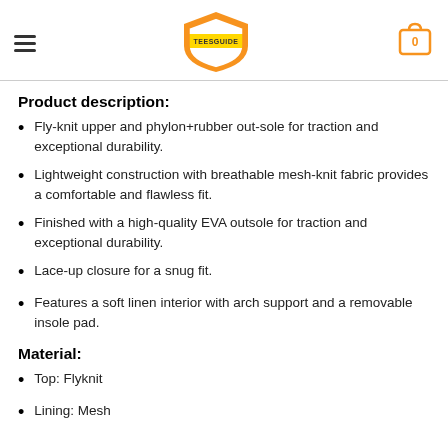TEESGUIDE
Product description:
Fly-knit upper and phylon+rubber out-sole for traction and exceptional durability.
Lightweight construction with breathable mesh-knit fabric provides a comfortable and flawless fit.
Finished with a high-quality EVA outsole for traction and exceptional durability.
Lace-up closure for a snug fit.
Features a soft linen interior with arch support and a removable insole pad.
Material:
Top: Flyknit
Lining: Mesh